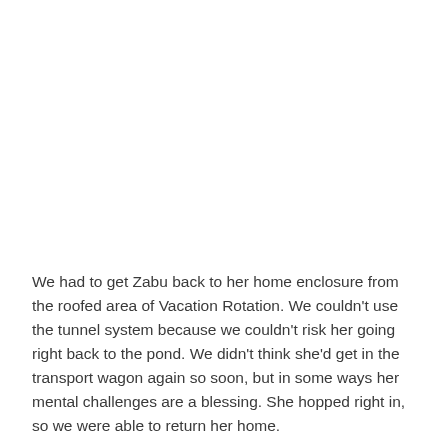We had to get Zabu back to her home enclosure from the roofed area of Vacation Rotation. We couldn't use the tunnel system because we couldn't risk her going right back to the pond. We didn't think she'd get in the transport wagon again so soon, but in some ways her mental challenges are a blessing. She hopped right in, so we were able to return her home.